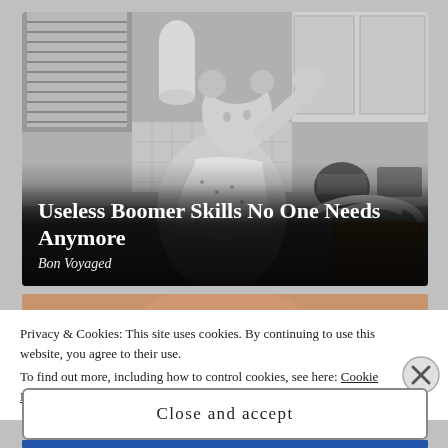[Figure (photo): Black and white vintage photo of a 1950s housewife in a kitchen wearing an apron and looking exhausted, with laundry basket and kitchen appliances visible. Overlaid with article title text.]
Useless Boomer Skills No One Needs Anymore
Bon Voyaged
[Figure (photo): Partial color thumbnail image visible behind the cookie banner, appears to show a person or food item in warm tones.]
Privacy & Cookies: This site uses cookies. By continuing to use this website, you agree to their use.
To find out more, including how to control cookies, see here: Cookie Policy
Close and accept